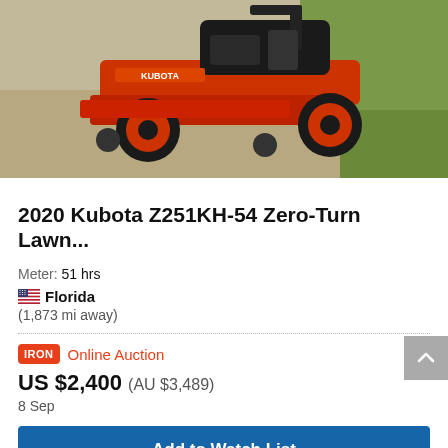[Figure (photo): Photo of a red 2020 Kubota Z251KH-54 Zero-Turn Lawn Mower on sandy/grassy ground]
2020 Kubota Z251KH-54 Zero-Turn Lawn...
Meter: 51 hrs
🇺🇸 Florida
(1,873 mi away)
IRON Online Auction
US $2,400 (AU $3,489)
8 Sep
Add to Watch List
Compare